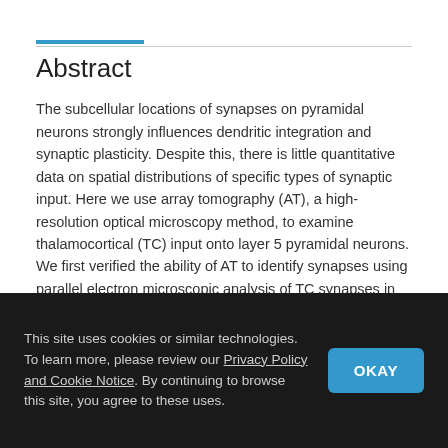Abstract
The subcellular locations of synapses on pyramidal neurons strongly influences dendritic integration and synaptic plasticity. Despite this, there is little quantitative data on spatial distributions of specific types of synaptic input. Here we use array tomography (AT), a high-resolution optical microscopy method, to examine thalamocortical (TC) input onto layer 5 pyramidal neurons. We first verified the ability of AT to identify synapses using parallel electron microscopic analysis of TC synapses in layer 4. We then use large scale array
This site uses cookies or similar technologies. To learn more, please review our Privacy Policy and Cookie Notice. By continuing to browse this site, you agree to these uses.